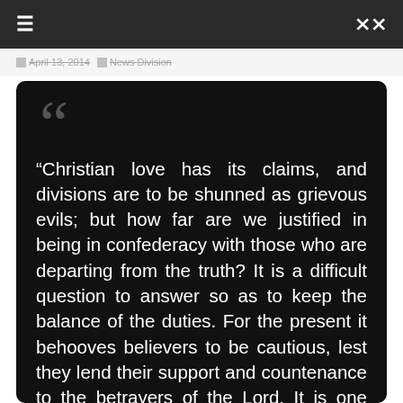≡  ⇌
April 13, 2014  News Division
“Christian love has its claims, and divisions are to be shunned as grievous evils; but how far are we justified in being in confederacy with those who are departing from the truth? It is a difficult question to answer so as to keep the balance of the duties. For the present it behooves believers to be cautious, lest they lend their support and countenance to the betrayers of the Lord. It is one thing to overleap all boundaries of denominational restriction for the truth’s sake; this